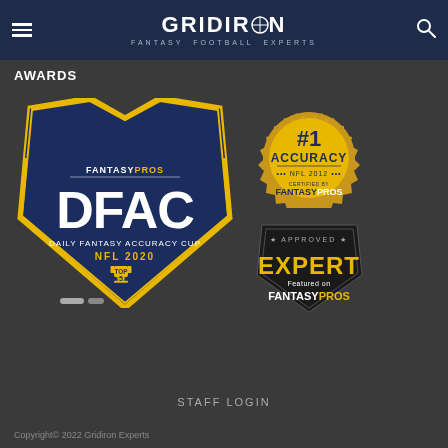GRIDIRON FANTASY FOOTBALL EXPERTS
AWARDS
[Figure (logo): DFAC Daily Fantasy Accuracy Cup NFL 2020 Top 5 badge by FantasyPros — navy blue shield shape with gold trim, large white DFAC text, trophy icon]
[Figure (logo): #1 Accuracy NFL 2012 gold circular badge certified by FantasyPros]
[Figure (logo): Approved Expert Featured on FantasyPros badge — dark shield shape with yellow text]
STAFF LOGIN
Copyright© 2022 Gridiron Experts